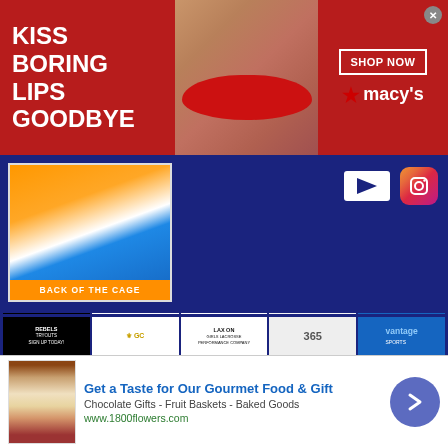[Figure (screenshot): Advertisement banner for Macy's: 'KISS BORING LIPS GOODBYE' with red background, model photo showing red lips, and 'SHOP NOW' button with macy's star logo]
[Figure (screenshot): BackOfTheCage website header with lacrosse logo, blue background, Google Play and Instagram icons]
[Figure (screenshot): Sponsor logos grid: Rebels Tryouts, GCDS, LAX ON, 365, Vantage Sports, NOTB, DS Outfitters, ConnectLAX, Elite80, Igloo Lacrosse, Legacy Lacrosse, D1 Undisputed Showcase, CBU Showcase, Undisputed D1]
Fall Showcases are N...
BackOfTheCage > Forums >    Register   Log In
NORTHEAST LACROSSE > BOTC MAIN FORUM > Girls 2027-7th Grade Fall 2021/Summer 2022
HOME   EVENTS   BLOGS   FORUMS   MEMBER LIST
[Figure (screenshot): Advertisement for 1800flowers.com: 'Get a Taste for Our Gourmet Food & Gift' - Chocolate Gifts, Fruit Baskets, Baked Goods, www.1800flowers.com]